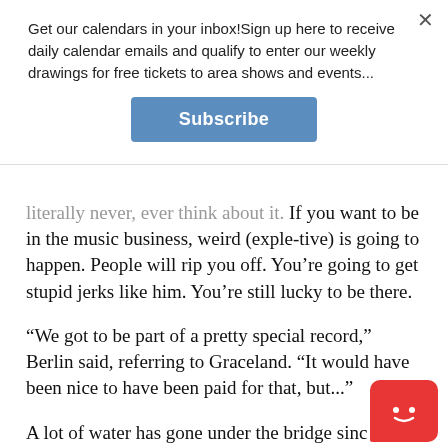Get our calendars in your inbox!Sign up here to receive daily calendar emails and qualify to enter our weekly drawings for free tickets to area shows and events...
Subscribe
literally never, ever think about it. If you want to be in the music business, weird (exple-tive) is going to happen. People will rip you off. You’re going to get stupid jerks like him. You’re still lucky to be there.
“We got to be part of a pretty special record,” Berlin said, referring to Graceland. “It would have been nice to have been paid for that, but...”
A lot of water has gone under the bridge since that incident.